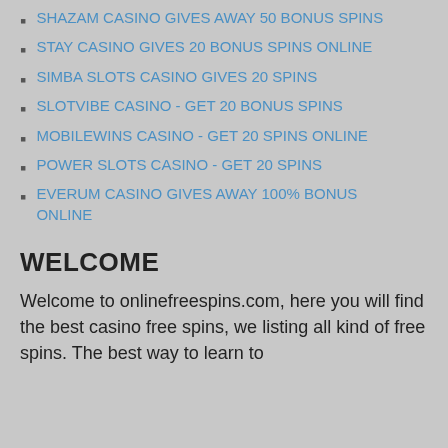SHAZAM CASINO GIVES AWAY 50 BONUS SPINS
STAY CASINO GIVES 20 BONUS SPINS ONLINE
SIMBA SLOTS CASINO GIVES 20 SPINS
SLOTVIBE CASINO - GET 20 BONUS SPINS
MOBILEWINS CASINO - GET 20 SPINS ONLINE
POWER SLOTS CASINO - GET 20 SPINS
EVERUM CASINO GIVES AWAY 100% BONUS ONLINE
WELCOME
Welcome to onlinefreespins.com, here you will find the best casino free spins, we listing all kind of free spins. The best way to learn to